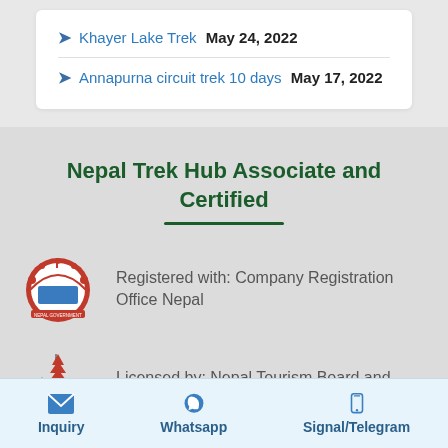Khayer Lake Trek May 24, 2022
Annapurna circuit trek 10 days May 17, 2022
Nepal Trek Hub Associate and Certified
Registered with: Company Registration Office Nepal
[Figure (logo): Nepal government emblem/crest logo in red and green]
Licensed by: Nepal Tourism Board and Department of Tourism
[Figure (logo): Nepal Tourism Board (NTB) logo with pagoda and mountains]
Inquiry   Whatsapp   Signal/Telegram